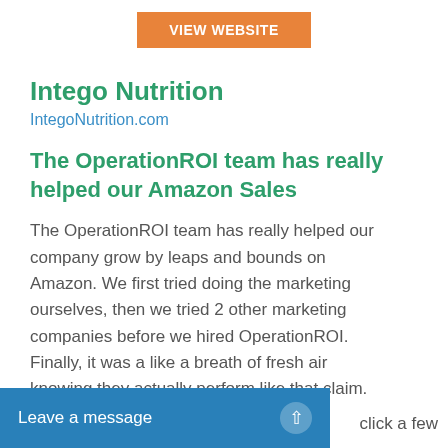[Figure (other): Orange 'VIEW WEBSITE' button at top center]
Intego Nutrition
IntegoNutrition.com
The OperationROI team has really helped our Amazon Sales
The OperationROI team has really helped our company grow by leaps and bounds on Amazon. We first tried doing the marketing ourselves, then we tried 2 other marketing companies before we hired OperationROI. Finally, it was a like a breath of fresh air knowing they actually perform like that claim.
Leave a message    click a few